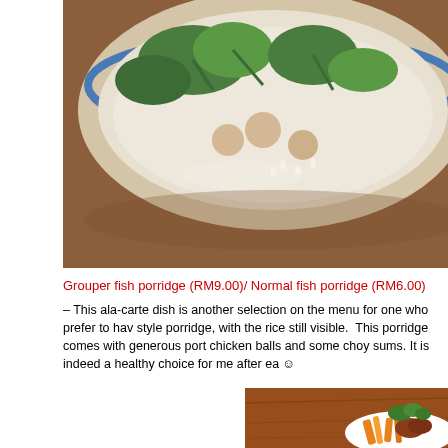[Figure (photo): Close-up photo of a bowl of fish porridge with green vegetables (choy sum) and meatballs in a white bowl with blue rim, viewed from above at an angle on a wooden surface.]
Grouper fish porridge (RM9.00)/ Normal fish porridge (RM6.00)
– This ala-carte dish is another selection on the menu for one who prefer to have style porridge, with the rice still visible. This porridge comes with generous port chicken balls and some choy sums. It is indeed a healthy choice for me after ea ☺
[Figure (photo): Photo of a white plate with what appears to be a meat dish garnished with green herbs/vegetables and orange/yellow julienned vegetables on a wooden table background.]